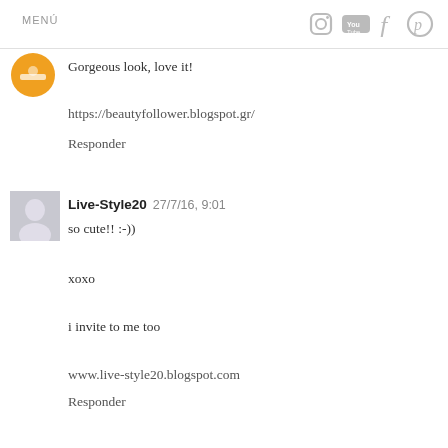MENÚ
Gorgeous look, love it!
https://beautyfollower.blogspot.gr/
Responder
Live-Style20  27/7/16, 9:01
so cute!! :-))
xoxo
i invite to me too
www.live-style20.blogspot.com
Responder